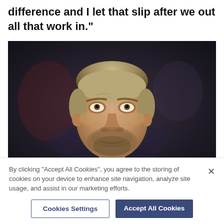difference and I let that slip after we out all that work in."
[Figure (photo): Close-up photo of a middle-aged man with short blonde-grey hair and a beard, wearing a dark suit and tie, looking upward with a serious expression. Dark background.]
By clicking "Accept All Cookies", you agree to the storing of cookies on your device to enhance site navigation, analyze site usage, and assist in our marketing efforts.
Cookies Settings
Accept All Cookies